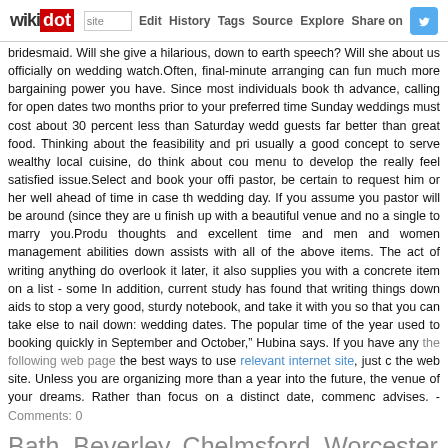wikidot | site | Edit | History | Tags | Source | Explore | Share on [Twitter]
bridesmaid. Will she give a hilarious, down to earth speech? Will she about us officially on wedding watch.Often, final-minute arranging can fun much more bargaining power you have. Since most individuals book th advance, calling for open dates two months prior to your preferred time Sunday weddings must cost about 30 percent less than Saturday wedd guests far better than great food. Thinking about the feasibility and pri usually a good concept to serve wealthy local cuisine, do think about cou menu to develop the really feel satisfied issue.Select and book your offi pastor, be certain to request him or her well ahead of time in case th wedding day. If you assume you pastor will be around (since they are u finish up with a beautiful venue and no a single to marry you.Produ thoughts and excellent time and men and women management abilities down assists with all of the above items. The act of writing anything do overlook it later, it also supplies you with a concrete item on a list - some In addition, current study has found that writing things down aids to stop a very good, sturdy notebook, and take it with you so that you can take else to nail down: wedding dates. The popular time of the year used to booking quickly in September and October," Hubina says. If you have any the following web page the best ways to use relevant internet site, just c the web site. Unless you are organizing more than a year into the future, the venue of your dreams. Rather than focus on a distinct date, commenc advises. - Comments: 0
Bath, Beverley, Chelmsford, Worcester And Thirs
Tags:
A frequent misunderstanding of the guidelines is that, on a push (a tie), undesirable party (informal) game. At the casino a "push" indicates no s